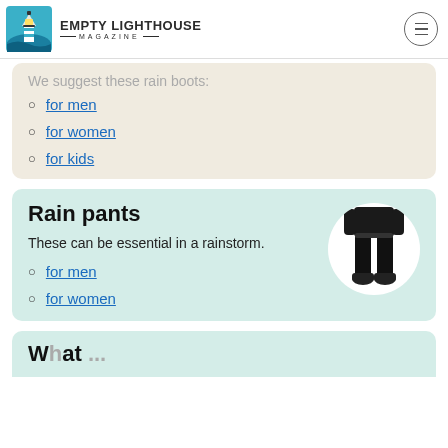EMPTY LIGHTHOUSE MAGAZINE
We suggest these rain boots:
for men
for women
for kids
Rain pants
These can be essential in a rainstorm.
for men
for women
[Figure (photo): Person wearing black rain pants and black shoes, shown from waist down, in a circular white frame]
What ...